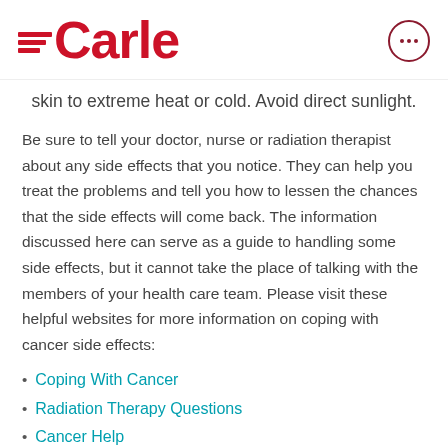Carle
skin to extreme heat or cold. Avoid direct sunlight.
Be sure to tell your doctor, nurse or radiation therapist about any side effects that you notice. They can help you treat the problems and tell you how to lessen the chances that the side effects will come back. The information discussed here can serve as a guide to handling some side effects, but it cannot take the place of talking with the members of your health care team. Please visit these helpful websites for more information on coping with cancer side effects:
Coping With Cancer
Radiation Therapy Questions
Cancer Help...